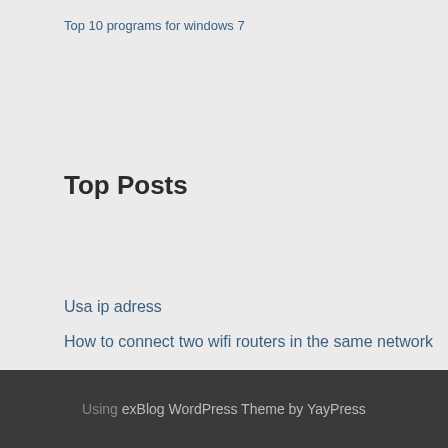Top 10 programs for windows 7
Top Posts
Usa ip adress
How to connect two wifi routers in the same network
Can i watch game of thrones premiere on hbo go
Chromecast setup app
Windows 8.1 mobile phone
Using exBlog WordPress Theme by YayPress